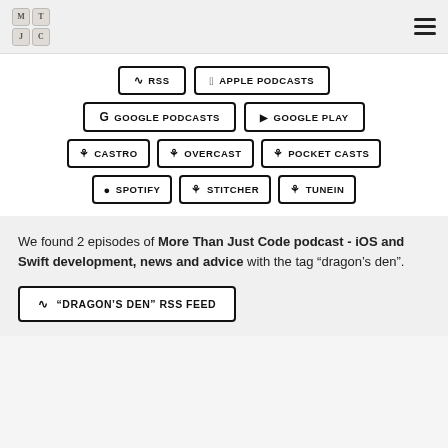[Figure (logo): 2x2 grid logo with keyboard key letters M, T, J, C]
RSS
APPLE PODCASTS
GOOGLE PODCASTS
GOOGLE PLAY
CASTRO
OVERCAST
POCKET CASTS
SPOTIFY
STITCHER
TUNEIN
We found 2 episodes of More Than Just Code podcast - iOS and Swift development, news and advice with the tag “dragon’s den”.
“DRAGON’S DEN” RSS FEED